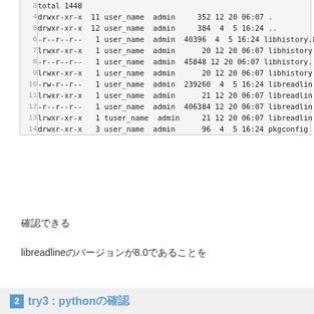[Figure (screenshot): Terminal/code listing showing directory entries with line numbers 3-14, displaying file permissions, user_name, admin, sizes and timestamps for libhistory and libreadline files and pkgconfig directory]
確認できる
libreadlineのバージョンが8.0であることを
2 try3 : pythonの確認